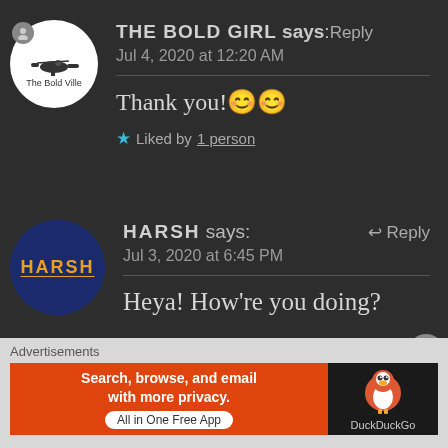THE BOLD GIRL says: Reply
Jul 4, 2020 at 12:20 AM
Thank you!😊😊
★ Liked by 1 person
HARSH says: Reply
Jul 3, 2020 at 6:45 PM
Heya! How're you doing?
Advertisements
[Figure (screenshot): DuckDuckGo advertisement banner: Search, browse, and email with more privacy. All in One Free App. DuckDuckGo logo on dark background.]